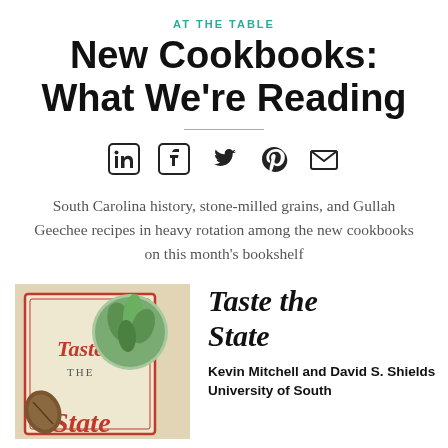AT THE TABLE
New Cookbooks: What We're Reading
[Figure (infographic): Social media sharing icons: LinkedIn, Facebook, Twitter, Pinterest, Email]
South Carolina history, stone-milled grains, and Gullah Geechee recipes in heavy rotation among the new cookbooks on this month's bookshelf
[Figure (photo): Book cover of 'Taste the State' showing the title with a circular inset of green leafy plants and a walnut in the foreground]
Taste the State
Kevin Mitchell and David S. Shields
University of South